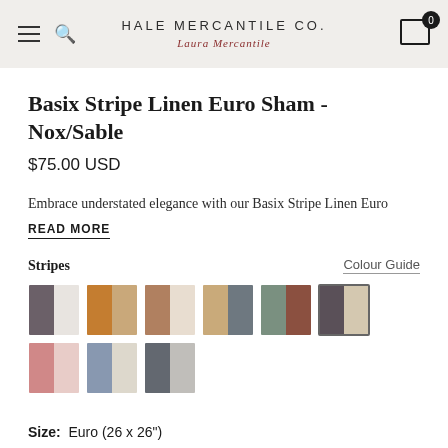HALE MERCANTILE CO.
Basix Stripe Linen Euro Sham - Nox/Sable
$75.00 USD
Embrace understated elegance with our Basix Stripe Linen Euro
READ MORE
Stripes
Colour Guide
[Figure (other): Color swatches showing 9 stripe combinations: dark grey/white, amber/tan, brown/cream, tan/slate, sage/brown, dark grey/sand (selected), pink/blush, steel blue/cream, and grey/light grey]
Size:  Euro (26 x 26")